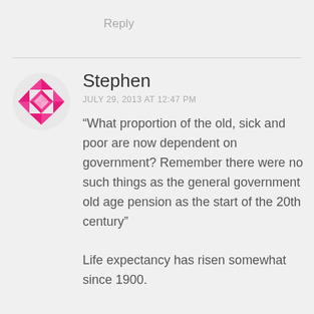Reply
Stephen
JULY 29, 2013 AT 12:47 PM
“What proportion of the old, sick and poor are now dependent on government? Remember there were no such things as the general government old age pension as the start of the 20th century”
Life expectancy has risen somewhat since 1900.